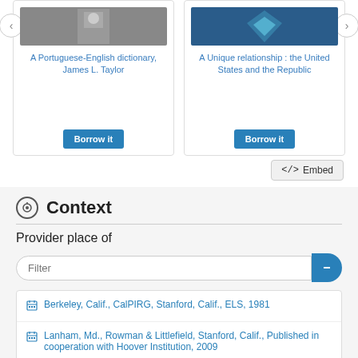[Figure (screenshot): Book card: A Portuguese-English dictionary by James L. Taylor with Borrow it button]
[Figure (screenshot): Book card: A Unique relationship: the United States and the Republic with Borrow it button]
</> Embed
Context
Provider place of
Filter
Berkeley, Calif., CalPIRG, Stanford, Calif., ELS, 1981
Lanham, Md., Rowman & Littlefield, Stanford, Calif., Published in cooperation with Hoover Institution, 2009